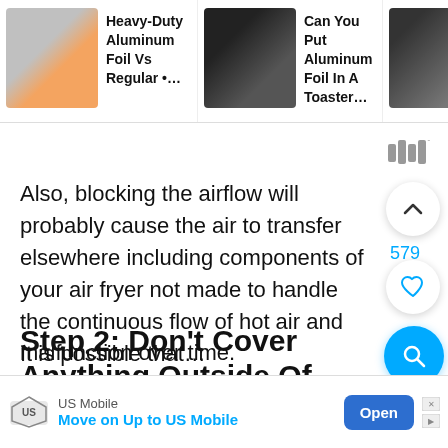Heavy-Duty Aluminum Foil Vs Regular •…  |  Can You Put Aluminum Foil In A Toaster…  |  Can Aluminum Foil Go In The Microwave…
Also, blocking the airflow will probably cause the air to transfer elsewhere including components of your air fryer not made to handle the continuous flow of hot air and malfunction over time.
Step 2: Don't Cover Anything Outside Of The Basket
US Mobile — Move on Up to US Mobile  [Open]